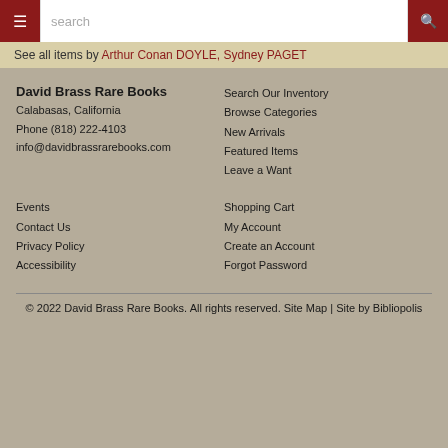☰  search  🔍
See all items by Arthur Conan DOYLE, Sydney PAGET
David Brass Rare Books
Calabasas, California
Phone (818) 222-4103
info@davidbrassrarebooks.com
Search Our Inventory
Browse Categories
New Arrivals
Featured Items
Leave a Want
Events
Contact Us
Privacy Policy
Accessibility
Shopping Cart
My Account
Create an Account
Forgot Password
© 2022 David Brass Rare Books. All rights reserved. Site Map | Site by Bibliopolis